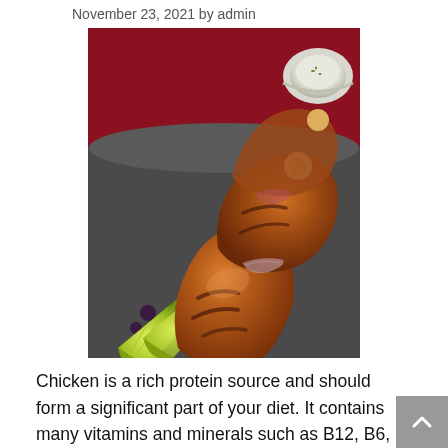November 23, 2021 by admin
[Figure (photo): Grilled chicken drumsticks on a dark slate plate with lime wedges and onion slices, with a small bowl of dipping sauce in the background on a red surface.]
Chicken is a rich protein source and should form a significant part of your diet. It contains many vitamins and minerals such as B12, B6, B3 (niacin), riboflavin, thiamine, choline, biotin, Iron,